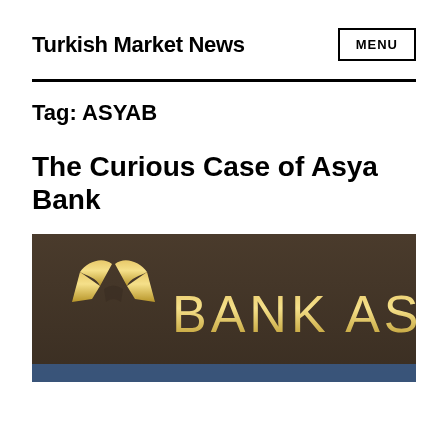Turkish Market News
MENU
Tag: ASYAB
The Curious Case of Asya Bank
[Figure (photo): Bank Asya signage showing the Bank Asya logo and name in gold letters on a dark brown/grey background]